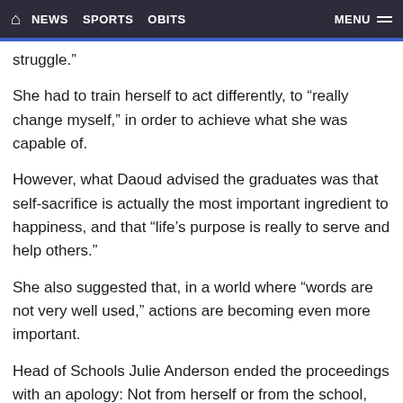NEWS  SPORTS  OBITS  MENU
struggle."
She had to train herself to act differently, to “really change myself,” in order to achieve what she was capable of.
However, what Daoud advised the graduates was that self-sacrifice is actually the most important ingredient to happiness, and that “life’s purpose is really to serve and help others.”
She also suggested that, in a world where “words are not very well used,” actions are becoming even more important.
Head of Schools Julie Anderson ended the proceedings with an apology: Not from herself or from the school, but for the state of the world. Anderson